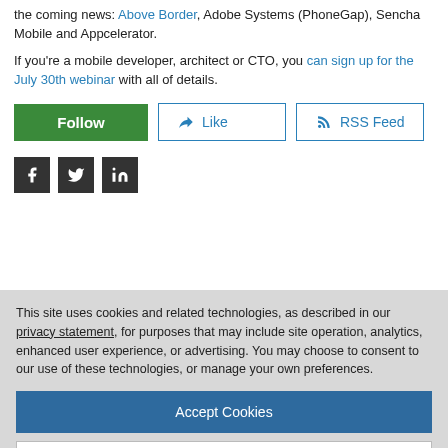the coming news: Above Border, Adobe Systems (PhoneGap), Sencha Mobile and Appcelerator.
If you're a mobile developer, architect or CTO, you can sign up for the July 30th webinar with all of details.
[Figure (other): Follow button (green), Like button (outlined, blue), RSS Feed button (outlined, blue)]
[Figure (other): Social media icons: Facebook, Twitter, LinkedIn (dark square icons)]
[Figure (other): Alert Moderator button (outlined)]
This site uses cookies and related technologies, as described in our privacy statement, for purposes that may include site operation, analytics, enhanced user experience, or advertising. You may choose to consent to our use of these technologies, or manage your own preferences.
[Figure (other): Accept Cookies button (dark blue)]
[Figure (other): More Information button (white/outlined)]
Privacy Policy | Powered by: TrustArc
apps